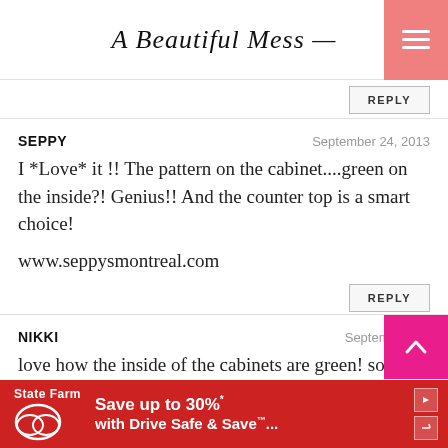A Beautiful Mess
REPLY
SEPPY — September 24, 2013
I *Love* it !! The pattern on the cabinet....green on the inside?! Genius!! And the counter top is a smart choice!

www.seppysmontreal.com
REPLY
NIKKI — September 24,
love how the inside of the cabinets are green! so cool

xxo
[Figure (infographic): State Farm ad banner: Save up to 30%* with Drive Safe & Save™]